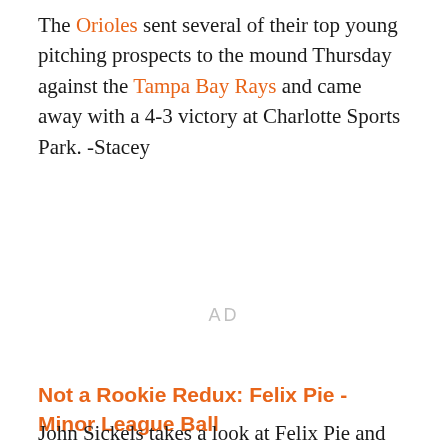The Orioles sent several of their top young pitching prospects to the mound Thursday against the Tampa Bay Rays and came away with a 4-3 victory at Charlotte Sports Park. -Stacey
AD
Not a Rookie Redux: Felix Pie - Minor League Ball
John Sickels takes a look at Felix Pie and likes what he